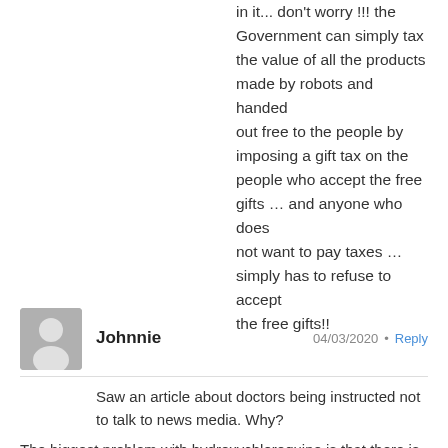in it... don't worry !!! the Government can simply tax the value of all the products made by robots and handed out free to the people by imposing a gift tax on the people who accept the free gifts … and anyone who does not want to pay taxes … simply has to refuse to accept the free gifts!!
Johnnie   04/03/2020 • Reply
Saw an article about doctors being instructed not to talk to news media. Why?
The biggest problem with hydroxychloroquine is that there is no patent anymore.
Wondering if Andrew Cuomo is starting to turn this tragedy into a dog and pony show.
Disturbing to see the Fed buying corporate debt and soon ETFs.
The next position is one phase away with their agenda.